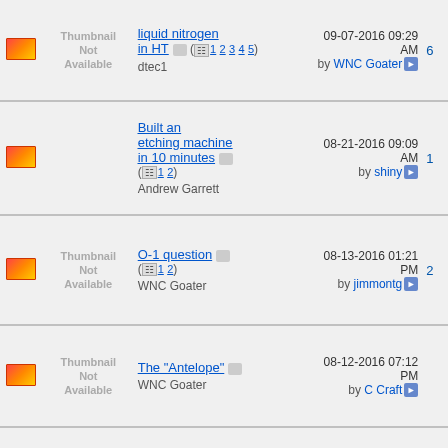|  | Thumbnail | Topic | Last Post |  |
| --- | --- | --- | --- | --- |
|  | Thumbnail Not Available | liquid nitrogen in HT (1 2 3 4 5) dtec1 | 09-07-2016 09:29 AM by WNC Goater | 6 |
|  |  | Built an etching machine in 10 minutes (1 2) Andrew Garrett | 08-21-2016 09:09 AM by shiny | 1 |
|  | Thumbnail Not Available | O-1 question (1 2) WNC Goater | 08-13-2016 01:21 PM by jimmontg | 2 |
|  | Thumbnail Not Available | The "Antelope" WNC Goater | 08-12-2016 07:12 PM by C Craft |  |
|  | Thumbnail Not Available | First Dagger - WIP jake387 | 08-11-2016 02:12 PM by jake387 | 1 |